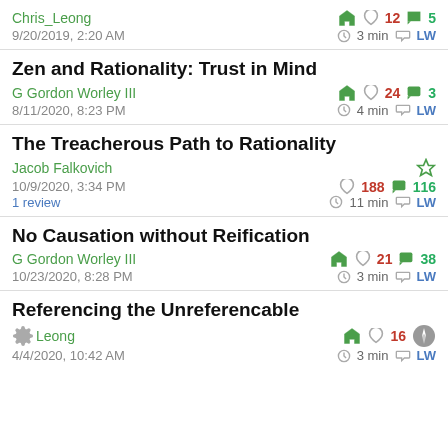Chris_Leong | 12 karma | 5 comments | 9/20/2019, 2:20 AM | 3 min | LW
Zen and Rationality: Trust in Mind
G Gordon Worley III | 24 karma | 3 comments | 8/11/2020, 8:23 PM | 4 min | LW
The Treacherous Path to Rationality
Jacob Falkovich | 188 karma | 116 comments | 10/9/2020, 3:34 PM | 1 review | 11 min | LW
No Causation without Reification
G Gordon Worley III | 21 karma | 38 comments | 10/23/2020, 8:28 PM | 3 min | LW
Referencing the Unreferencable
Chris Leong | 16 karma | 4/4/2020, 10:42 AM | 3 min | LW